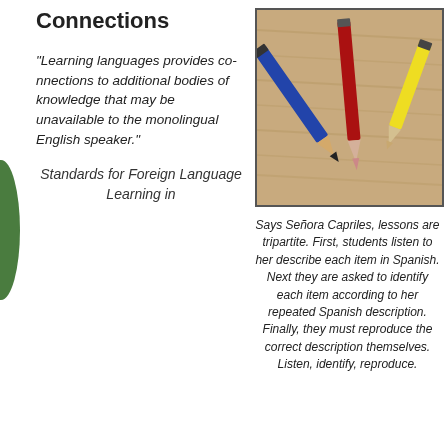Connections
“Learning languages provides connections to additional bodies of knowledge that may be unavailable to the monolingual English speaker.”
[Figure (photo): Three colored pencils (blue, red, yellow) lying on a wooden surface]
Says Señora Capriles, lessons are tripartite. First, students listen to her describe each item in Spanish. Next they are asked to identify each item according to her repeated Spanish description. Finally, they must reproduce the correct description themselves. Listen, identify, reproduce.
Standards for Foreign Language Learning in